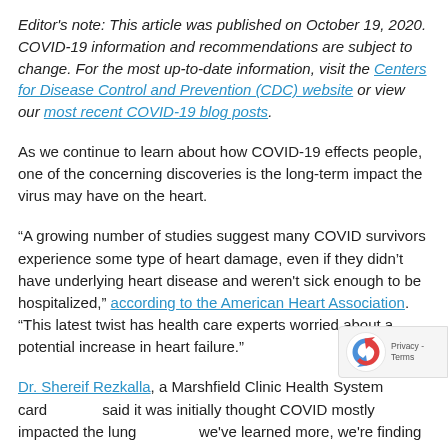Editor's note: This article was published on October 19, 2020. COVID-19 information and recommendations are subject to change. For the most up-to-date information, visit the Centers for Disease Control and Prevention (CDC) website or view our most recent COVID-19 blog posts.
As we continue to learn about how COVID-19 effects people, one of the concerning discoveries is the long-term impact the virus may have on the heart.
“A growing number of studies suggest many COVID survivors experience some type of heart damage, even if they didn’t have underlying heart disease and weren't sick enough to be hospitalized,” according to the American Heart Association. “This latest twist has health care experts worried about a potential increase in heart failure.”
Dr. Shereif Rezkalla, a Marshfield Clinic Health System card... said it was initially thought COVID mostly impacted the lung... we've learned more, we're finding that the virus can attach to many...